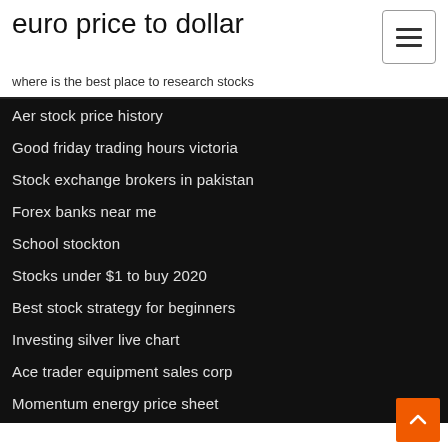euro price to dollar
where is the best place to research stocks
Aer stock price history
Good friday trading hours victoria
Stock exchange brokers in pakistan
Forex banks near me
School stockton
Stocks under $1 to buy 2020
Best stock strategy for beginners
Investing silver live chart
Ace trader equipment sales corp
Momentum energy price sheet